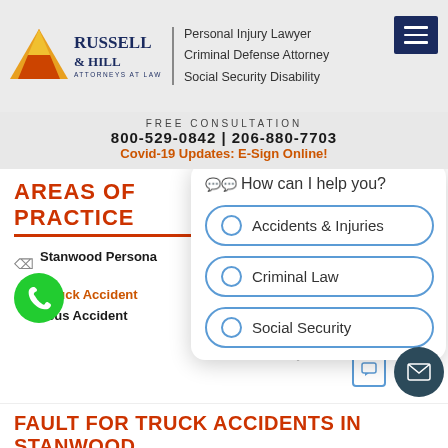[Figure (logo): Russell & Hill Attorneys at Law logo with pyramid graphic]
Personal Injury Lawyer
Criminal Defense Attorney
Social Security Disability
FREE CONSULTATION
800-529-0842 | 206-880-7703
Covid-19 Updates: E-Sign Online!
AREAS OF PRACTICE
Stanwood Personal Injury Attorney
Truck Accident
Bus Accident
[Figure (screenshot): Chat popup widget with options: How can I help you? Accidents & Injuries, Criminal Law, Social Security]
FAULT FOR TRUCK ACCIDENTS IN STANWOOD